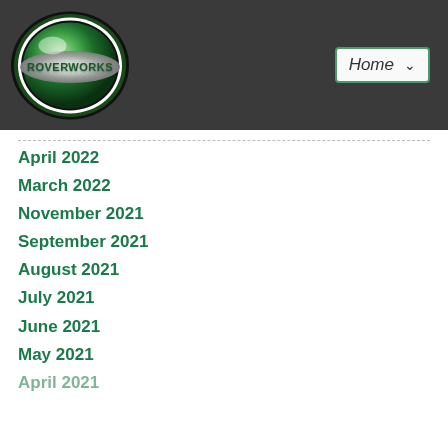[Figure (logo): Roverworks logo — oval green metallic badge with ROVERWORKS text on a silver band, on a dark grey header bar]
April 2022
March 2022
November 2021
September 2021
August 2021
July 2021
June 2021
May 2021
April 2021